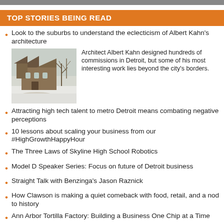TOP STORIES BEING READ
Look to the suburbs to understand the eclecticism of Albert Kahn's architecture
[Figure (photo): Photo of a large stone Tudor-style house in winter with bare trees and snow on the ground]
Architect Albert Kahn designed hundreds of commissions in Detroit, but some of his most interesting work lies beyond the city's borders.
Attracting high tech talent to metro Detroit means combating negative perceptions
10 lessons about scaling your business from our #HighGrowthHappyHour
The Three Laws of Skyline High School Robotics
Model D Speaker Series: Focus on future of Detroit business
Straight Talk with Benzinga's Jason Raznick
How Clawson is making a quiet comeback with food, retail, and a nod to history
Ann Arbor Tortilla Factory: Building a Business One Chip at a Time
Welcome to Corktown, look out the International Boarder at...